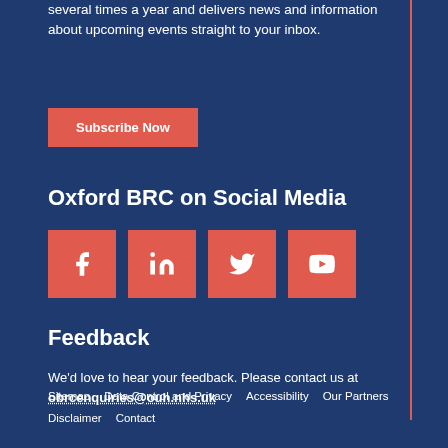several times a year and delivers news and information about upcoming events straight to your inbox.
Subscribe Now
Oxford BRC on Social Media
[Figure (infographic): Four social media icon buttons (Facebook, LinkedIn, Twitter, YouTube) displayed as red squares with white icons]
Feedback
We'd love to hear your feedback. Please contact us at obrcenquiries@ouh.nhs.uk
Sitemap   Data Control and Privacy   Accessibility   Our Partners   Disclaimer   Contact